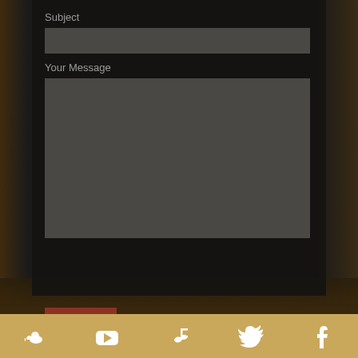Subject
Your Message
SEND
[Figure (infographic): Social media icons row (SoundCloud, YouTube, music note, Twitter, Facebook) on golden/tan background footer bar]
[Figure (photo): Concert crowd photo with warm amber/brown tones, people silhouetted against stage lighting]